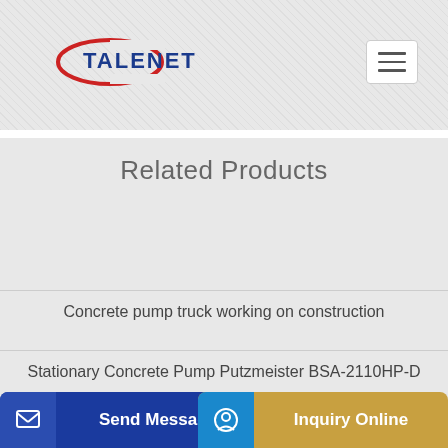[Figure (logo): TALENET company logo with red elliptical swoosh and blue text]
[Figure (screenshot): Hamburger menu button (three horizontal lines) in white rounded rectangle]
Related Products
Concrete pump truck working on construction
Stationary Concrete Pump Putzmeister BSA-2110HP-D
[Figure (screenshot): Send Message button (blue) and Inquiry Online button (gold) at bottom of page]